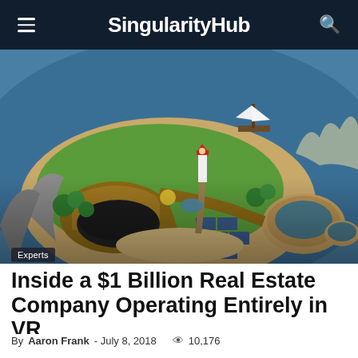SingularityHub
[Figure (illustration): Aerial view of a virtual reality island with buildings, green spaces, a lighthouse, a sailing ship, and surrounding blue water. The scene is rendered in a stylized 3D game-like art style.]
Experts
Inside a $1 Billion Real Estate Company Operating Entirely in VR
By Aaron Frank - July 8, 2018  10,176